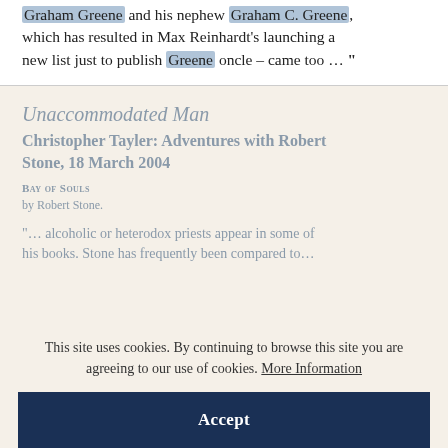Graham Greene and his nephew Graham C. Greene, which has resulted in Max Reinhardt's launching a new list just to publish Greene oncle – came too … "
Unaccommodated Man
Christopher Tayler: Adventures with Robert Stone, 18 March 2004
Bay of Souls
by Robert Stone.
"… alcoholic or heterodox priests appear in some of his books. Stone has frequently been compared to …
This site uses cookies. By continuing to browse this site you are agreeing to our use of cookies. More Information
Accept